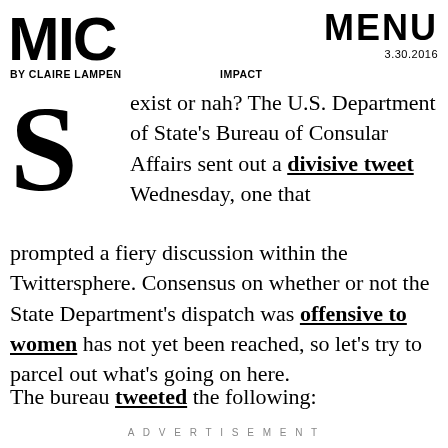MIC
BY CLAIRE LAMPEN   IMPACT   MENU 3.30.2016
Sexist or nah? The U.S. Department of State's Bureau of Consular Affairs sent out a divisive tweet Wednesday, one that prompted a fiery discussion within the Twittersphere. Consensus on whether or not the State Department's dispatch was offensive to women has not yet been reached, so let's try to parcel out what's going on here.
The bureau tweeted the following:
ADVERTISEMENT